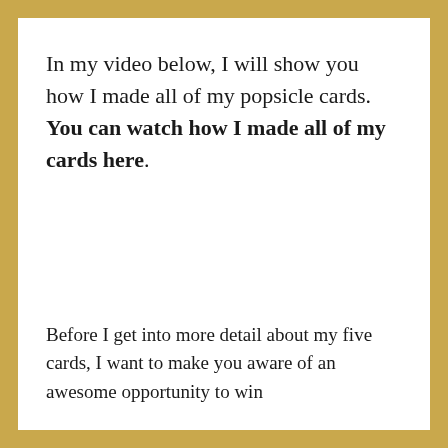In my video below, I will show you how I made all of my popsicle cards. You can watch how I made all of my cards here.
Before I get into more detail about my five cards, I want to make you aware of an awesome opportunity to win